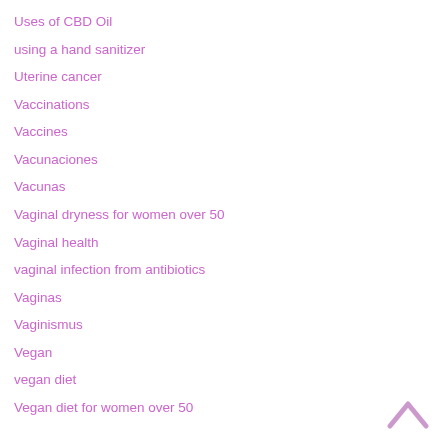Uses of CBD Oil
using a hand sanitizer
Uterine cancer
Vaccinations
Vaccines
Vacunaciones
Vacunas
Vaginal dryness for women over 50
Vaginal health
vaginal infection from antibiotics
Vaginas
Vaginismus
Vegan
vegan diet
Vegan diet for women over 50